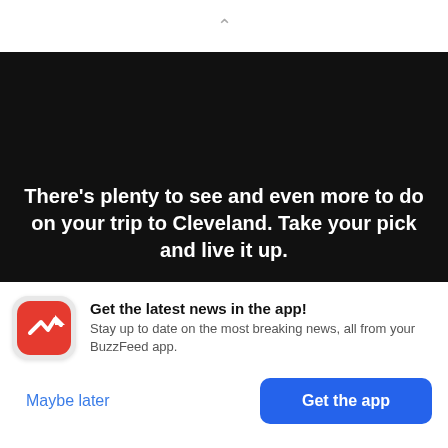[Figure (screenshot): Chevron/caret up icon in gray, used as a UI collapse/scroll indicator]
[Figure (photo): Dark/black video player area with white bold text overlay reading: There’s plenty to see and even more to do on your trip to Cleveland. Take your pick and live it up.]
Get the latest news in the app! Stay up to date on the most breaking news, all from your BuzzFeed app.
Maybe later
Get the app